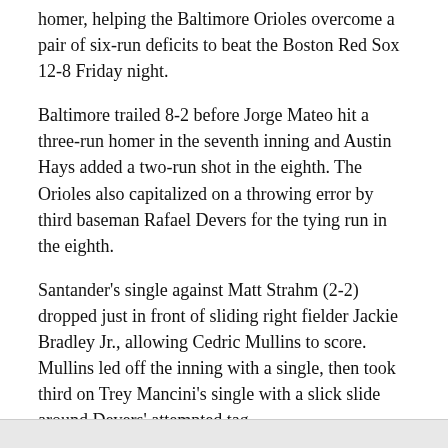homer, helping the Baltimore Orioles overcome a pair of six-run deficits to beat the Boston Red Sox 12-8 Friday night.
Baltimore trailed 8-2 before Jorge Mateo hit a three-run homer in the seventh inning and Austin Hays added a two-run shot in the eighth. The Orioles also capitalized on a throwing error by third baseman Rafael Devers for the tying run in the eighth.
Santander's single against Matt Strahm (2-2) dropped just in front of sliding right fielder Jackie Bradley Jr., allowing Cedric Mullins to score. Mullins led off the inning with a single, then took third on Trey Mancini's single with a slick slide around Devers' attempted tag.